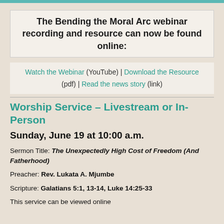The Bending the Moral Arc webinar recording and resource can now be found online:
Watch the Webinar (YouTube) | Download the Resource (pdf) | Read the news story (link)
Worship Service – Livestream or In-Person
Sunday, June 19 at 10:00 a.m.
Sermon Title: The Unexpectedly High Cost of Freedom (And Fatherhood)
Preacher: Rev. Lukata A. Mjumbe
Scripture: Galatians 5:1, 13-14, Luke 14:25-33
This service can be viewed online